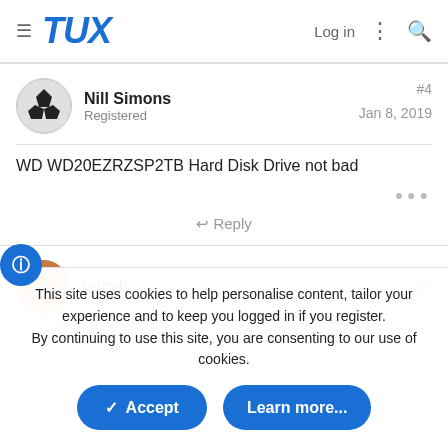TUX  Log in
Nill Simons
Registered
#4
Jan 8, 2019
WD WD20EZRZSP2TB Hard Disk Drive not bad
↩ Reply
micah
#5
This site uses cookies to help personalise content, tailor your experience and to keep you logged in if you register.
By continuing to use this site, you are consenting to our use of cookies.